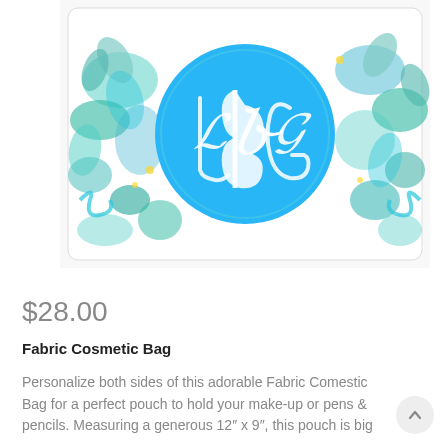[Figure (photo): A rectangular fabric cosmetic bag with a floral pattern in teal, blue, and green colors on a white background. In the center of the bag is a blue circle containing a white ornate monogram with letters resembling 'LBG' in a scripted cursive style.]
$28.00
Fabric Cosmetic Bag
Personalize both sides of this adorable Fabric Comestic Bag for a perfect pouch to hold your make-up or pens & pencils. Measuring a generous 12" x 9", this pouch is big